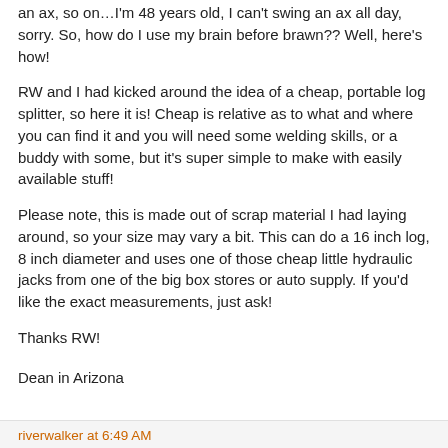an ax, so on…I'm 48 years old, I can't swing an ax all day, sorry. So, how do I use my brain before brawn?? Well, here's how!
RW and I had kicked around the idea of a cheap, portable log splitter, so here it is! Cheap is relative as to what and where you can find it and you will need some welding skills, or a buddy with some, but it's super simple to make with easily available stuff!
Please note, this is made out of scrap material I had laying around, so your size may vary a bit. This can do a 16 inch log, 8 inch diameter and uses one of those cheap little hydraulic jacks from one of the big box stores or auto supply. If you'd like the exact measurements, just ask!
Thanks RW!
Dean in Arizona
riverwalker at 6:49 AM